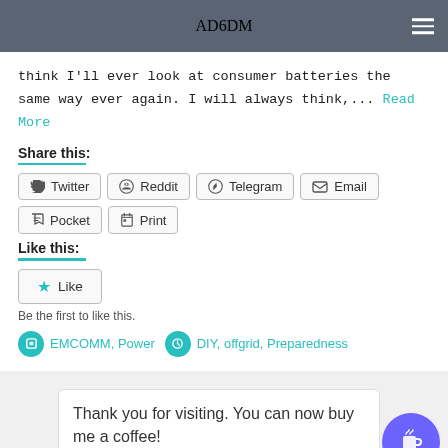AD6DM
think I'll ever look at consumer batteries the same way ever again. I will always think,... Read More
Share this:
Twitter  Reddit  Telegram  Email  Pocket  Print
Like this:
Like
Be the first to like this.
EMCOMM, Power   DIY, offgrid, Preparedness
Thank you for visiting. You can now buy me a coffee!
SEARCH